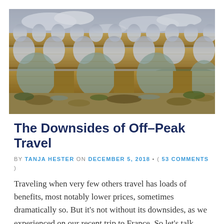[Figure (photo): Photograph of a Roman aqueduct (Pont du Gard) with multiple tiers of stone arches against a partly cloudy sky, with rocky riverbed below.]
The Downsides of Off-Peak Travel
BY TANJA HESTER ON DECEMBER 5, 2018 • ( 53 COMMENTS )
Traveling when very few others travel has loads of benefits, most notably lower prices, sometimes dramatically so. But it's not without its downsides, as we experienced on our recent trip to France. So let's talk about those downsides.